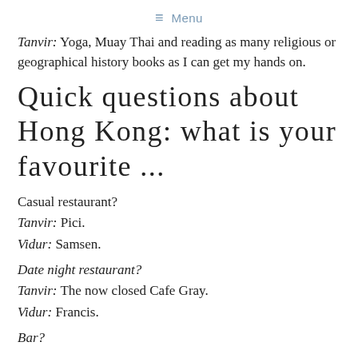≡ Menu
Tanvir: Yoga, Muay Thai and reading as many religious or geographical history books as I can get my hands on.
Quick questions about Hong Kong: what is your favourite ...
Casual restaurant?
Tanvir: Pici.
Vidur: Samsen.
Date night restaurant?
Tanvir: The now closed Cafe Gray.
Vidur: Francis.
Bar?